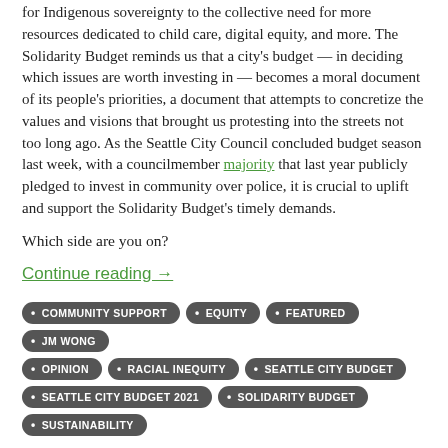for Indigenous sovereignty to the collective need for more resources dedicated to child care, digital equity, and more. The Solidarity Budget reminds us that a city's budget — in deciding which issues are worth investing in — becomes a moral document of its people's priorities, a document that attempts to concretize the values and visions that brought us protesting into the streets not too long ago. As the Seattle City Council concluded budget season last week, with a councilmember majority that last year publicly pledged to invest in community over police, it is crucial to uplift and support the Solidarity Budget's timely demands.
Which side are you on?
Continue reading →
COMMUNITY SUPPORT
EQUITY
FEATURED
JM WONG
OPINION
RACIAL INEQUITY
SEATTLE CITY BUDGET
SEATTLE CITY BUDGET 2021
SOLIDARITY BUDGET
SUSTAINABILITY